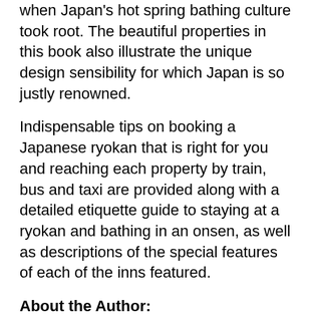when Japan's hot spring bathing culture took root. The beautiful properties in this book also illustrate the unique design sensibility for which Japan is so justly renowned.
Indispensable tips on booking a Japanese ryokan that is right for you and reaching each property by train, bus and taxi are provided along with a detailed etiquette guide to staying at a ryokan and bathing in an onsen, as well as descriptions of the special features of each of the inns featured.
About the Author:
Rob Goss is an award-winning British writer and long-term Tokyo resident focusing on Japan, travel writing, and creative writing that ranges from short fiction to short-form poetry. His books include the NATJA award-winning guidebooks Tuttle Travel